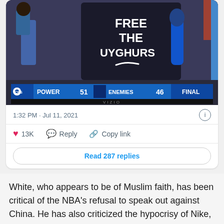[Figure (screenshot): Screenshot of a tweet showing a photo of a person wearing a black t-shirt that reads 'FREE THE UYGHURS' with a Nike-style logo. A TV scoreboard shows 'POWER 51 ENEMIES 46 FINAL' on a CBS broadcast. A Vizio TV is visible at the bottom of the image.]
1:32 PM · Jul 11, 2021
13K  Reply  Copy link
Read 287 replies
White, who appears to be of Muslim faith, has been critical of the NBA's refusal to speak out against China. He has also criticized the hypocrisy of Nike, both directly and indirectly, with the logo on his t-shirt features what appears to be a reverse Nike swoosh.